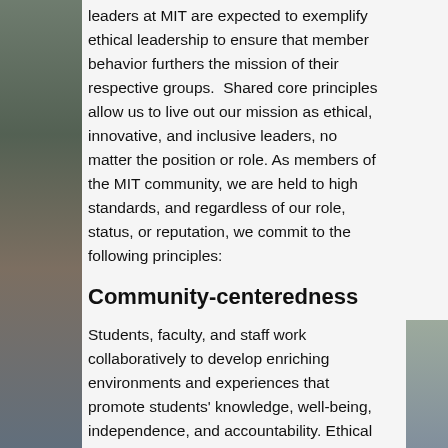leaders at MIT are expected to exemplify ethical leadership to ensure that member behavior furthers the mission of their respective groups. Shared core principles allow us to live out our mission as ethical, innovative, and inclusive leaders, no matter the position or role. As members of the MIT community, we are held to high standards, and regardless of our role, status, or reputation, we commit to the following principles:
Community-centeredness
Students, faculty, and staff work collaboratively to develop enriching environments and experiences that promote students' knowledge, well-being, independence, and accountability. Ethical leaders place what is best for the community ahead of themselves and act accordingly. Ethical leadership has to be based on MIT's values.
Diversity and Inclusion
Ethical leadership requires active and intentional work in creating a place for all people to share their talents, skills and